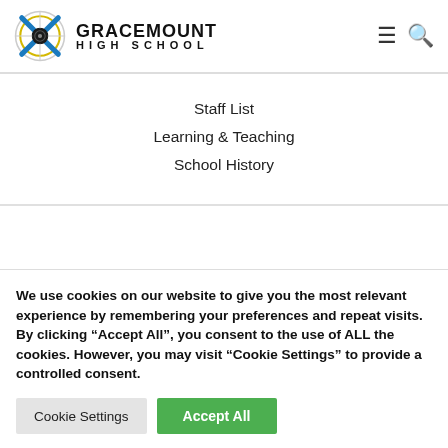GRACEMOUNT HIGH SCHOOL
Staff List
Learning & Teaching
School History
We use cookies on our website to give you the most relevant experience by remembering your preferences and repeat visits. By clicking “Accept All”, you consent to the use of ALL the cookies. However, you may visit "Cookie Settings" to provide a controlled consent.
Cookie Settings | Accept All